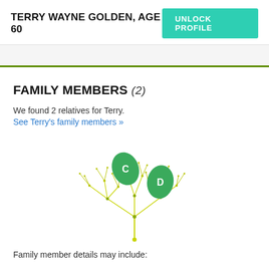TERRY WAYNE GOLDEN, AGE 60
FAMILY MEMBERS (2)
We found 2 relatives for Terry.
See Terry's family members »
[Figure (illustration): A decorative family tree illustration with branching network lines in yellow-green, featuring two green leaf shapes labeled 'C' and 'D' representing family members.]
Family member details may include: